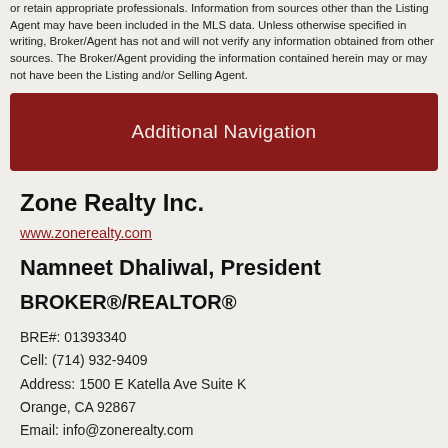or retain appropriate professionals. Information from sources other than the Listing Agent may have been included in the MLS data. Unless otherwise specified in writing, Broker/Agent has not and will not verify any information obtained from other sources. The Broker/Agent providing the information contained herein may or may not have been the Listing and/or Selling Agent.
Additional Navigation
Zone Realty Inc.
www.zonerealty.com
Namneet Dhaliwal, President
BROKER®/REALTOR®
BRE#: 01393340
Cell: (714) 932-9409
Address: 1500 E Katella Ave Suite K
Orange, CA 92867
Email: info@zonerealty.com